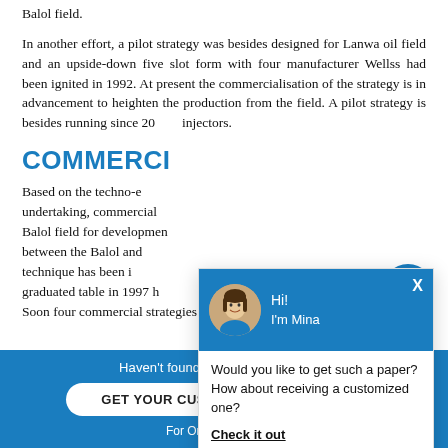Balol field.
In another effort, a pilot strategy was besides designed for Lanwa oil field and an upside-down five slot form with four manufacturer Wellss had been ignited in 1992. At present the commercialisation of the strategy is in advancement to heighten the production from the field. A pilot strategy is besides running since 20... injectors.
COMMERCI...
Based on the techno-e... undertaking, commercial ... Balol field for developmen... between the Balol and ... technique has been i... graduated table in 1997 h...
Soon four commercial strategies viz. Balol Ph-1, San...
[Figure (screenshot): Chat popup with avatar of woman named Mina, blue header, message asking if user would like a customized paper, with Check it out link]
[Figure (screenshot): Blue circular chat button icon at bottom right]
Haven't found the Essay You Want?
GET YOUR CUSTOM ESSAY SAMPLE
For Only $13.90/page